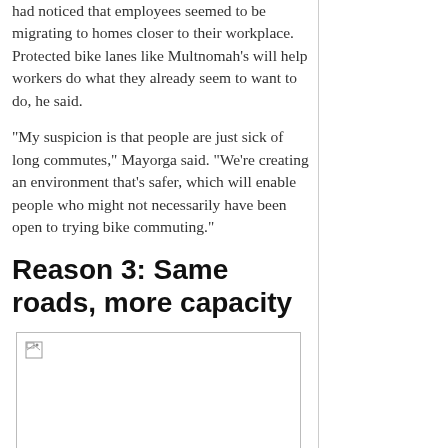had noticed that employees seemed to be migrating to homes closer to their workplace. Protected bike lanes like Multnomah's will help workers do what they already seem to want to do, he said.
"My suspicion is that people are just sick of long commutes," Mayorga said. "We're creating an environment that's safer, which will enable people who might not necessarily have been open to trying bike commuting."
Reason 3: Same roads, more capacity
[Figure (photo): Broken/unloaded image placeholder with small image icon in top-left corner]